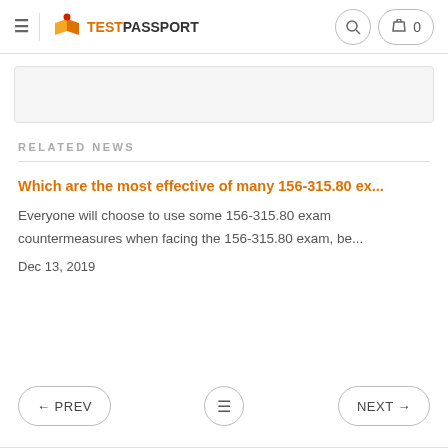TestPassport
RELATED NEWS
Which are the most effective of many 156-315.80 ex...
Everyone will choose to use some 156-315.80 exam countermeasures when facing the 156-315.80 exam, be...
Dec 13, 2019
← PREV   ≡   NEXT →